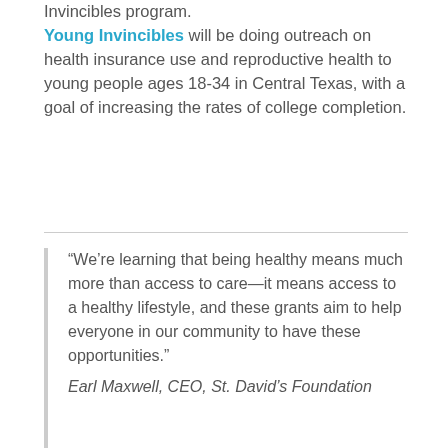Invincibles program. Young Invincibles will be doing outreach on health insurance use and reproductive health to young people ages 18-34 in Central Texas, with a goal of increasing the rates of college completion.
“We’re learning that being healthy means much more than access to care—it means access to a healthy lifestyle, and these grants aim to help everyone in our community to have these opportunities.” Earl Maxwell, CEO, St. David’s Foundation